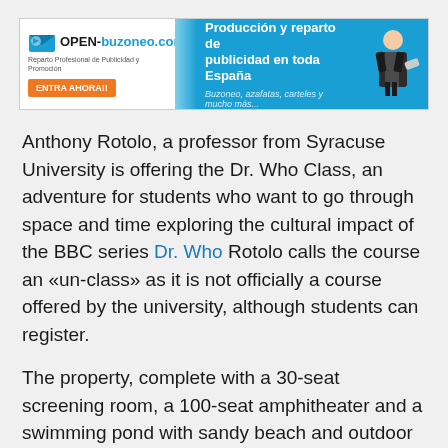[Figure (other): Advertisement banner for OPEN-buzoneo.com. Left white section shows logo with envelope icon, tagline 'Reparto Profesional de Publicidad y Promoción', and orange button 'ENTRA AHORA!!'. Right blue section shows text 'Producción y reparto de publicidad en toda España' and 'Buzoneo, azafatas, carteles y mucho más...' with a photo of a man in a suit.]
Anthony Rotolo, a professor from Syracuse University is offering the Dr. Who Class, an adventure for students who want to go through space and time exploring the cultural impact of the BBC series Dr. Who Rotolo calls the course an «un-class» as it is not officially a course offered by the university, although students can register.
The property, complete with a 30-seat screening room, a 100-seat amphitheater and a swimming pond with sandy beach and outdoor shower, was asking about $40 million, but J. Lo managed to make it hers for $28